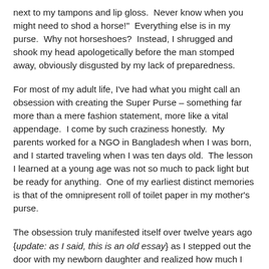next to my tampons and lip gloss.  Never know when you might need to shod a horse!"  Everything else is in my purse.  Why not horseshoes?  Instead, I shrugged and shook my head apologetically before the man stomped away, obviously disgusted by my lack of preparedness.
For most of my adult life, I've had what you might call an obsession with creating the Super Purse – something far more than a mere fashion statement, more like a vital appendage.  I come by such craziness honestly.  My parents worked for a NGO in Bangladesh when I was born, and I started traveling when I was ten days old.  The lesson I learned at a young age was not so much to pack light but be ready for anything.  One of my earliest distinct memories is that of the omnipresent roll of toilet paper in my mother's purse.
The obsession truly manifested itself over twelve years ago {update: as I said, this is an old essay} as I stepped out the door with my newborn daughter and realized how much I needed to navigate a child safely through this world.  And to be honest, I take a certain pride in being ready for any